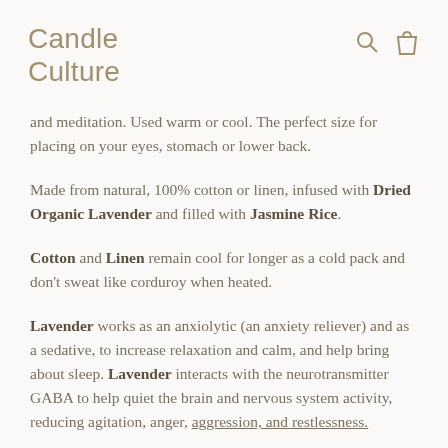Candle Culture
and meditation. Used warm or cool. The perfect size for placing on your eyes, stomach or lower back.
Made from natural, 100% cotton or linen, infused with Dried Organic Lavender and filled with Jasmine Rice.
Cotton and Linen remain cool for longer as a cold pack and don't sweat like corduroy when heated.
Lavender works as an anxiolytic (an anxiety reliever) and as a sedative, to increase relaxation and calm, and help bring about sleep. Lavender interacts with the neurotransmitter GABA to help quiet the brain and nervous system activity, reducing agitation, anger, aggression, and restlessness.